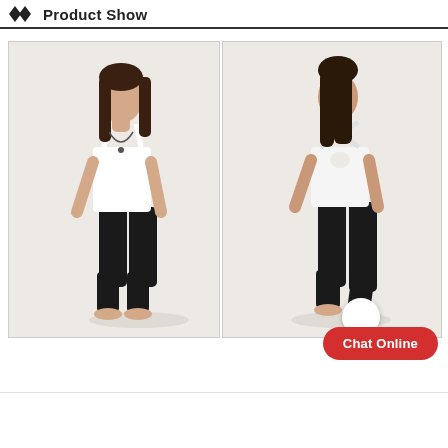Product Show
[Figure (photo): Two photos of a female model wearing a white strappy tank top and black capri leggings. Left photo shows front view, right photo shows back view showing cross-strap back detail. Both on light background.]
Chat Online